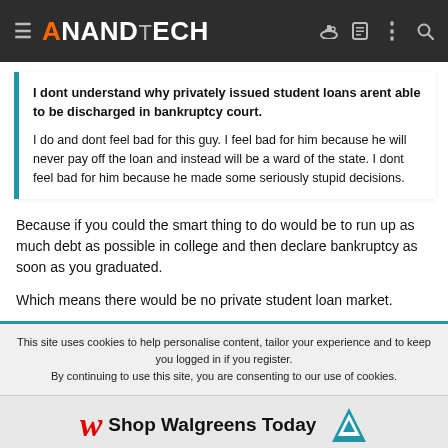AnandTech
I dont understand why privately issued student loans arent able to be discharged in bankruptcy court.

I do and dont feel bad for this guy. I feel bad for him because he will never pay off the loan and instead will be a ward of the state. I dont feel bad for him because he made some seriously stupid decisions.
Because if you could the smart thing to do would be to run up as much debt as possible in college and then declare bankruptcy as soon as you graduated.
Which means there would be no private student loan market.
This site uses cookies to help personalise content, tailor your experience and to keep you logged in if you register.
By continuing to use this site, you are consenting to our use of cookies.
[Figure (advertisement): Walgreens advertisement banner: 'Shop Walgreens Today']